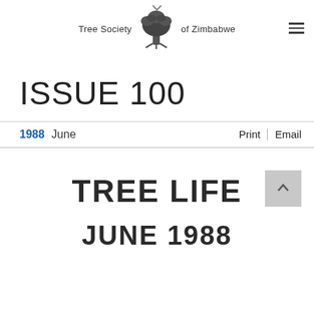Tree Society of Zimbabwe
ISSUE 100
1988  June    Print | Email
TREE LIFE
JUNE 1988